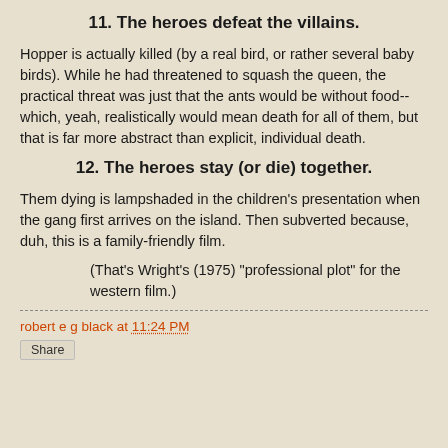11. The heroes defeat the villains.
Hopper is actually killed (by a real bird, or rather several baby birds). While he had threatened to squash the queen, the practical threat was just that the ants would be without food--which, yeah, realistically would mean death for all of them, but that is far more abstract than explicit, individual death.
12. The heroes stay (or die) together.
Them dying is lampshaded in the children's presentation when the gang first arrives on the island. Then subverted because, duh, this is a family-friendly film.
(That's Wright's (1975) "professional plot" for the western film.)
robert e g black at 11:24 PM
Share